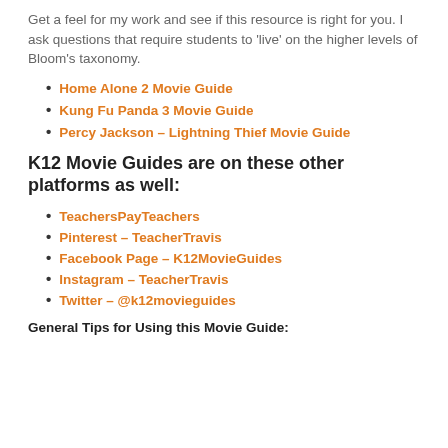Get a feel for my work and see if this resource is right for you. I ask questions that require students to 'live' on the higher levels of Bloom's taxonomy.
Home Alone 2 Movie Guide
Kung Fu Panda 3 Movie Guide
Percy Jackson – Lightning Thief Movie Guide
K12 Movie Guides are on these other platforms as well:
TeachersPayTeachers
Pinterest – TeacherTravis
Facebook Page – K12MovieGuides
Instagram – TeacherTravis
Twitter – @k12movieguides
General Tips for Using this Movie Guide: